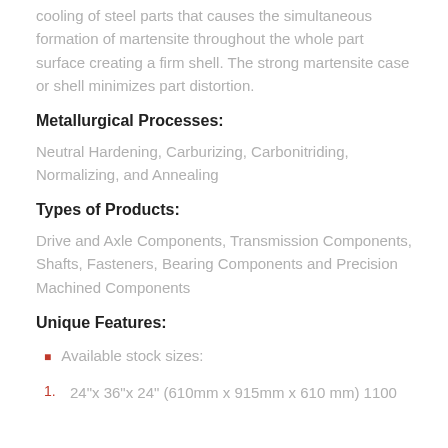cooling of steel parts that causes the simultaneous formation of martensite throughout the whole part surface creating a firm shell. The strong martensite case or shell minimizes part distortion.
Metallurgical Processes:
Neutral Hardening, Carburizing, Carbonitriding, Normalizing, and Annealing
Types of Products:
Drive and Axle Components, Transmission Components, Shafts, Fasteners, Bearing Components and Precision Machined Components
Unique Features:
Available stock sizes:
24"x 36"x 24" (610mm x 915mm x 610 mm) 1100